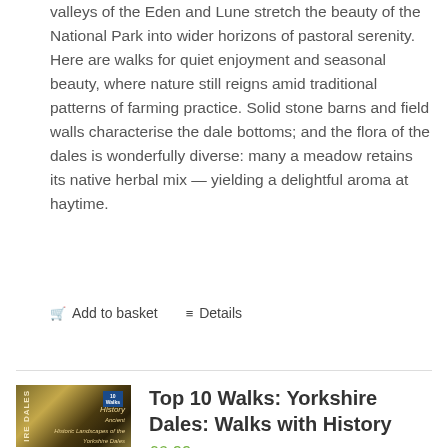valleys of the Eden and Lune stretch the beauty of the National Park into wider horizons of pastoral serenity. Here are walks for quiet enjoyment and seasonal beauty, where nature still reigns amid traditional patterns of farming practice. Solid stone barns and field walls characterise the dale bottoms; and the flora of the dales is wonderfully diverse: many a meadow retains its native herbal mix — yielding a delightful aroma at haytime.
Add to basket   Details
[Figure (photo): Book cover of Top 10 Walks: Yorkshire Dales: Walks with History, showing a dark golden/brown textured architectural or natural pattern with spine text 'shire Dales' and subtitle 'History']
Top 10 Walks: Yorkshire Dales: Walks with History
£6.99